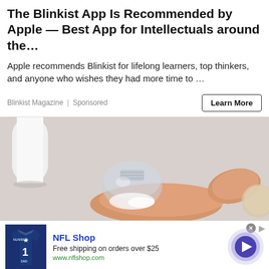The Blinkist App Is Recommended by Apple — Best App for Intellectuals around the…
Apple recommends Blinkist for lifelong learners, top thinkers, and anyone who wishes they had more time to …
Blinkist Magazine | Sponsored
[Figure (photo): Close-up photo of a hand holding a small transparent bottle or vial against a light background]
NFL Shop
Free shipping on orders over $25
www.nflshop.com